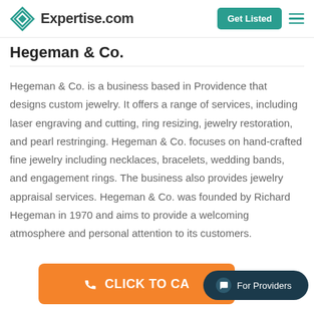Expertise.com — Get Listed
Hegeman & Co.
Hegeman & Co. is a business based in Providence that designs custom jewelry. It offers a range of services, including laser engraving and cutting, ring resizing, jewelry restoration, and pearl restringing. Hegeman & Co. focuses on hand-crafted fine jewelry including necklaces, bracelets, wedding bands, and engagement rings. The business also provides jewelry appraisal services. Hegeman & Co. was founded by Richard Hegeman in 1970 and aims to provide a welcoming atmosphere and personal attention to its customers.